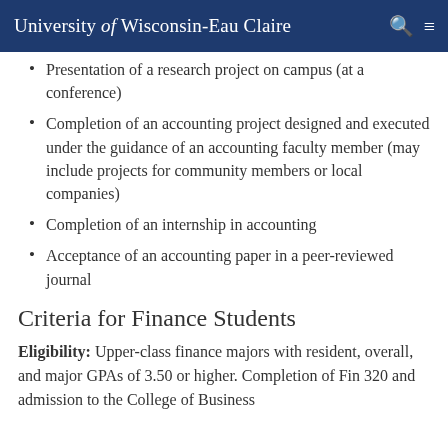University of Wisconsin-Eau Claire
Presentation of a research project on campus (at a conference)
Completion of an accounting project designed and executed under the guidance of an accounting faculty member (may include projects for community members or local companies)
Completion of an internship in accounting
Acceptance of an accounting paper in a peer-reviewed journal
Criteria for Finance Students
Eligibility: Upper-class finance majors with resident, overall, and major GPAs of 3.50 or higher. Completion of Fin 320 and admission to the College of Business